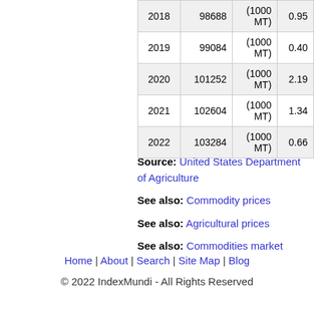| Year | Value | Unit | Change |
| --- | --- | --- | --- |
| 2018 | 98688 | (1000 MT) | 0.95 |
| 2019 | 99084 | (1000 MT) | 0.40 |
| 2020 | 101252 | (1000 MT) | 2.19 |
| 2021 | 102604 | (1000 MT) | 1.34 |
| 2022 | 103284 | (1000 MT) | 0.66 |
Source: United States Department of Agriculture
See also: Commodity prices
See also: Agricultural prices
See also: Commodities market
Home | About | Search | Site Map | Blog
© 2022 IndexMundi - All Rights Reserved